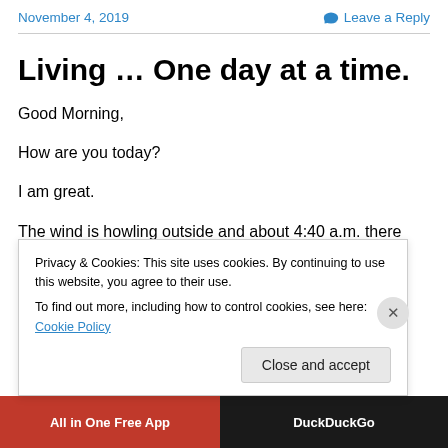November 4, 2019   Leave a Reply
Living … One day at a time.
Good Morning,
How are you today?
I am great.
The wind is howling outside and about 4:40 a.m. there were snowflakes making their way to the ground.
Privacy & Cookies: This site uses cookies. By continuing to use this website, you agree to their use.
To find out more, including how to control cookies, see here: Cookie Policy
Close and accept
[Figure (other): Advertisement bar at bottom: red section with 'All in One Free App' text and dark section with 'DuckDuckGo' text]